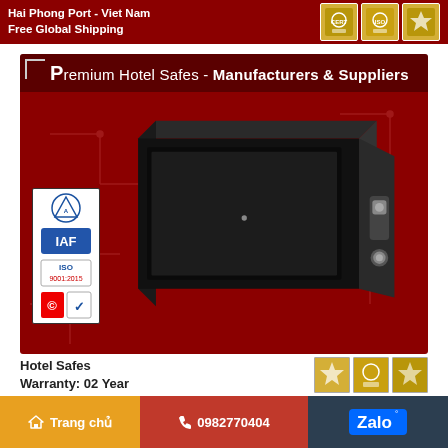Hai Phong Port - Viet Nam
Free Global Shipping
Premium Hotel Safes - Manufacturers & Suppliers
[Figure (photo): An open black hotel safe with electronic lock, photographed on a dark red background with circuit board pattern. On the left are certification logos: IAF, ISO, and quality marks. The safe is open showing interior with locking mechanism on right side.]
Hotel Safes
Warranty: 02 Year
Trang chủ   0982770404   Zalo